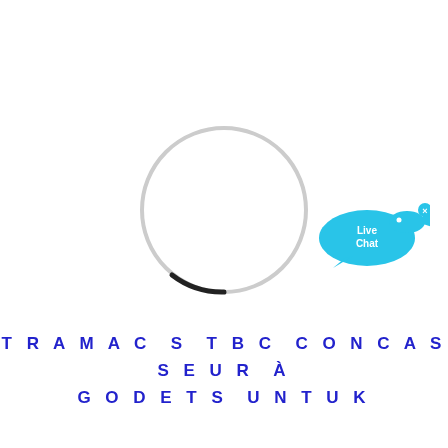[Figure (other): Loading spinner circle — a thin light gray circle with a dark arc at the bottom-right, indicating a loading state.]
[Figure (other): Live Chat widget: a cyan/blue speech bubble with 'Live Chat' text in white, and a small blue fish icon to the upper right with an X close button.]
TRAMAC S TBC CONCASSEUR À GODETS UNTUK